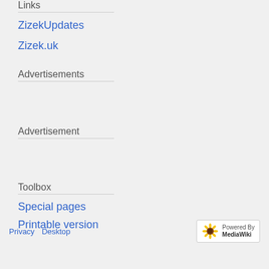Links
ZizekUpdates
Zizek.uk
Advertisements
Advertisement
Toolbox
Special pages
Printable version
Privacy  Desktop  Powered By MediaWiki